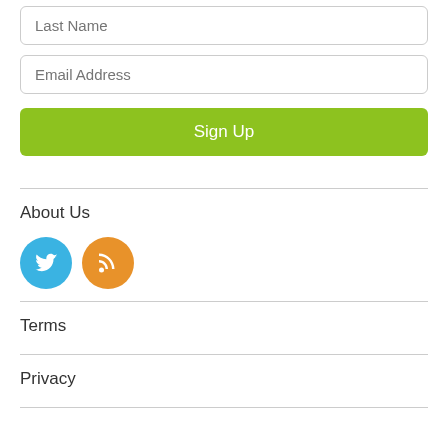Last Name
Email Address
Sign Up
About Us
[Figure (illustration): Two circular social media icons: blue Twitter bird icon and orange RSS feed icon]
Terms
Privacy